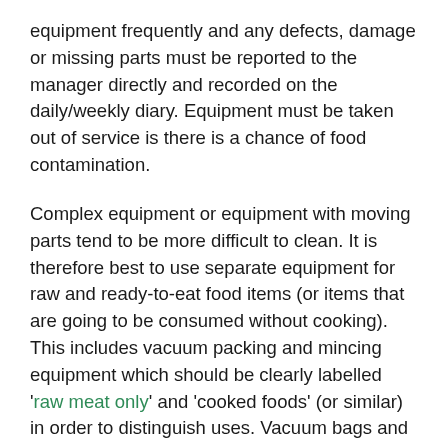equipment frequently and any defects, damage or missing parts must be reported to the manager directly and recorded on the daily/weekly diary. Equipment must be taken out of service is there is a chance of food contamination.
Complex equipment or equipment with moving parts tend to be more difficult to clean. It is therefore best to use separate equipment for raw and ready-to-eat food items (or items that are going to be consumed without cooking). This includes vacuum packing and mincing equipment which should be clearly labelled 'raw meat only' and 'cooked foods' (or similar) in order to distinguish uses. Vacuum bags and associated equipment must also be kept separate.
Staff must always store food equipment in clean